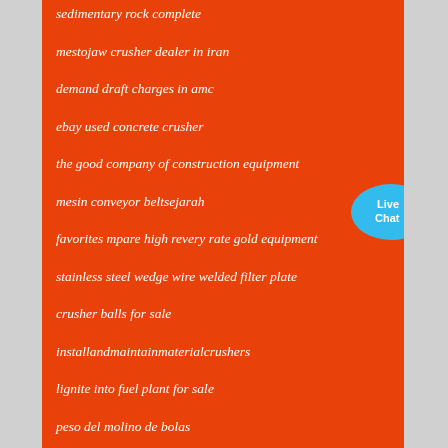sedimentary rock complete
mestojaw crusher dealer in iran
demand draft charges in amc
ebay used concrete crusher
the good company of construction equipment
mesin conveyor beltsejarah
favorites mpare high revery rate gold equipment
stainless steel wedge wire welded filter plate
crusher balls for sale
installandmaintainmaterialcrushers
lignite into fuel plant for sale
peso del molino de bolas
used gold zimbabwe